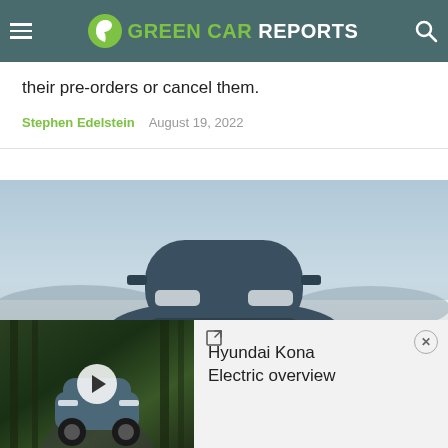GREEN CAR REPORTS
their pre-orders or cancel them.
Stephen Edelstein   August 19, 2022
[Figure (photo): Front view of a blue electric car (likely Ioniq 6 or similar Hyundai EV) against a misty lake/mountain backdrop]
[Figure (photo): Video thumbnail showing a teal/grey Hyundai Kona Electric driving through a forest road, with play button overlay]
Hyundai Kona Electric overview